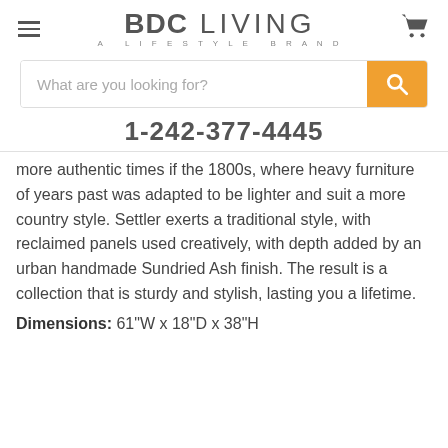BDC LIVING — A LIFESTYLE BRAND
[Figure (screenshot): Search bar with orange search button and magnifying glass icon]
1-242-377-4445
more authentic times if the 1800s, where heavy furniture of years past was adapted to be lighter and suit a more country style. Settler exerts a traditional style, with reclaimed panels used creatively, with depth added by an urban handmade Sundried Ash finish. The result is a collection that is sturdy and stylish, lasting you a lifetime.
Dimensions: 61"W x 18"D x 38"H